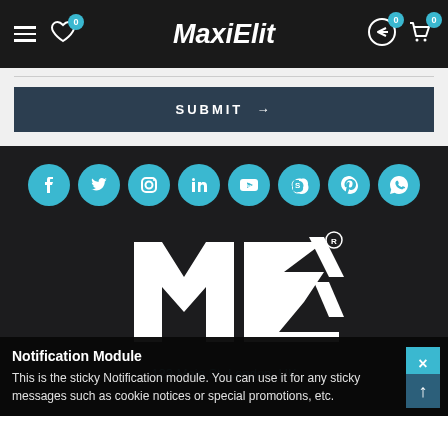MaxiElit — Navigation header with hamburger menu, wishlist (0), logo, return icon (0), cart (0)
SUBMIT →
[Figure (infographic): Row of 8 teal circular social media icons: Facebook, Twitter, Instagram, LinkedIn, YouTube, Skype, Pinterest, WhatsApp]
[Figure (logo): MaxiElit stylized ME logo in white on dark background]
123 Main St. London, UK
Notification Module
This is the sticky Notification module. You can use it for any sticky messages such as cookie notices or special promotions, etc.